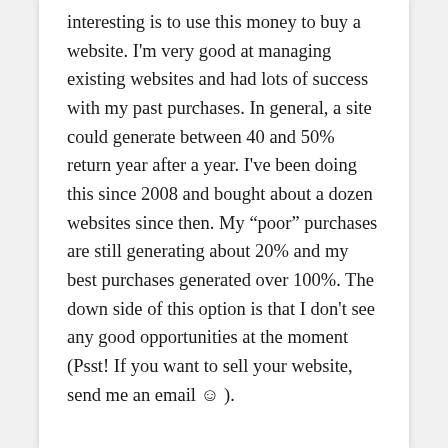interesting is to use this money to buy a website. I'm very good at managing existing websites and had lots of success with my past purchases. In general, a site could generate between 40 and 50% return year after a year. I've been doing this since 2008 and bought about a dozen websites since then. My “poor” purchases are still generating about 20% and my best purchases generated over 100%. The down side of this option is that I don’t see any good opportunities at the moment (Psst! If you want to sell your website, send me an email ☺ ).